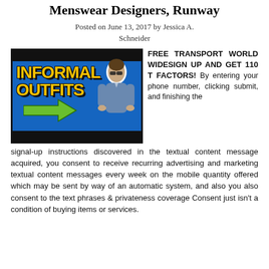Menswear Designers, Runway
Posted on June 13, 2017 by Jessica A. Schneider
[Figure (photo): Promotional image with blue background showing text 'INFORMAL OUTFITS' in yellow with a man in denim shirt and sunglasses, and a green arrow]
FREE TRANSPORT WORLD WIDESIGN UP AND GET 110 T FACTORS! By entering your phone number, clicking submit, and finishing the signal-up instructions discovered in the textual content message acquired, you consent to receive recurring advertising and marketing textual content messages every week on the mobile quantity offered which may be sent by way of an automatic system, and also you also consent to the text phrases & privateness coverage Consent just isn't a condition of buying items or services.